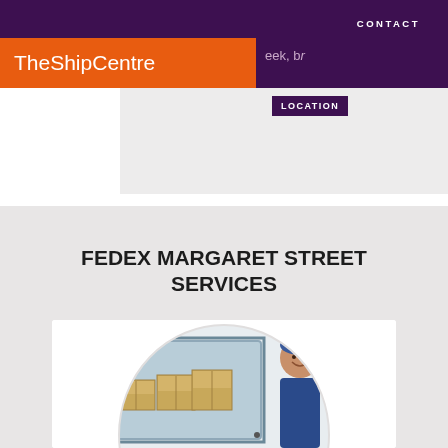CONTACT
[Figure (logo): TheShipCentre logo in orange bar with purple navigation strip]
eek, br
LOCATION
FEDEX MARGARET STREET SERVICES
[Figure (photo): Delivery person smiling next to open FedEx delivery van loaded with boxes, shown in a circular crop]